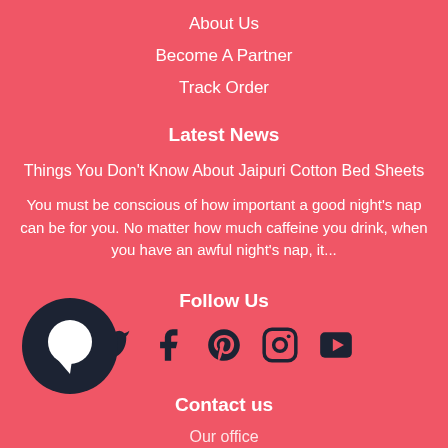About Us
Become A Partner
Track Order
Latest News
Things You Don't Know About Jaipuri Cotton Bed Sheets
You must be conscious of how important a good night's nap can be for you. No matter how much caffeine you drink, when you have an awful night's nap, it...
Follow Us
[Figure (infographic): Social media icons: Twitter, Facebook, Pinterest, Instagram, YouTube]
[Figure (illustration): Dark circular chat bubble icon on bottom left]
Contact us
Our office...